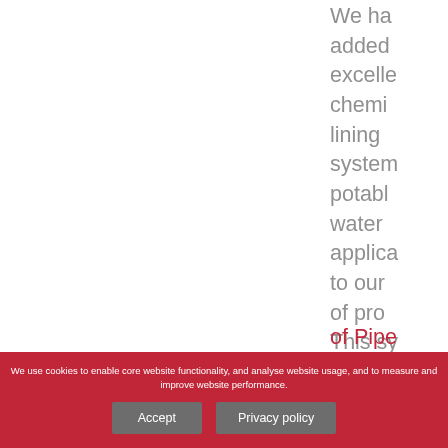We have added excelle chemi lining system potabl water applica to our of pro This sy is compr of Pipe 5000
We use cookies to enable core website functionality, and analyse website usage, and to measure and improve website performance.
Accept  Privacy policy
of Pipe 5000